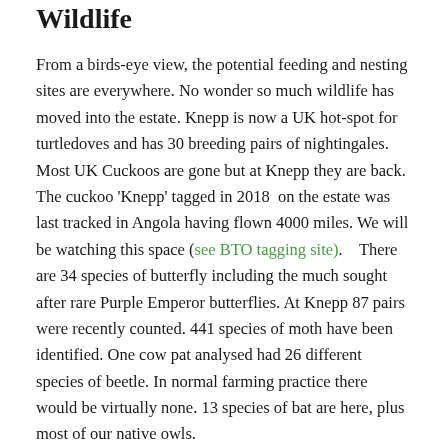Wildlife
From a birds-eye view, the potential feeding and nesting sites are everywhere. No wonder so much wildlife has moved into the estate. Knepp is now a UK hot-spot for turtledoves and has 30 breeding pairs of nightingales. Most UK Cuckoos are gone but at Knepp they are back. The cuckoo 'Knepp' tagged in 2018  on the estate was last tracked in Angola having flown 4000 miles. We will be watching this space (see BTO tagging site).   There are 34 species of butterfly including the much sought after rare Purple Emperor butterflies. At Knepp 87 pairs were recently counted. 441 species of moth have been identified. One cow pat analysed had 26 different species of beetle. In normal farming practice there would be virtually none. 13 species of bat are here, plus most of our native owls.